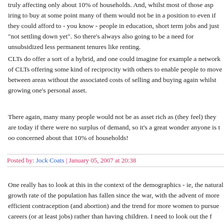truly affecting only about 10% of households. And, whilst most of those aspiring to buy at some point many of them would not be in a position to even if they could afford to - you know - people in education, short term jobs and just "not settling down yet". So there's always also going to be a need for unsubsidized less permanent tenures like renting.
CLTs do offer a sort of a hybrid, and one could imagine for example a network of CLTs offering some kind of reciprocity with others to enable people to move between areas without the associated costs of selling and buying again whilst growing one's personal asset.
There again, many many people would not be as asset rich as (they feel) they are today if there were no surplus of demand, so it's a great wonder anyone is too concerned about that 10% of households!
Posted by: Jock Coats | January 05, 2007 at 20:38
One really has to look at this in the context of the demographics - ie, the natural growth rate of the population has fallen since the war, with the advent of more efficient contraception (and abortion) and the trend for more women to pursue careers (or at least jobs) rather than having children. I need to look out the figures in detail, and no doubt when this topic comes up again there'll be an opportunity to post them, but for the moment I'll compare the surplus of births over deaths in 1948 and 1998, per thousand of population: